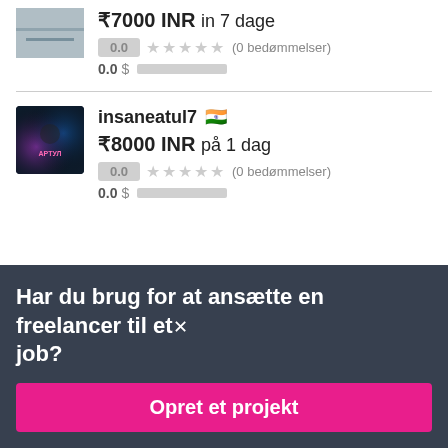₹7000 INR in 7 dage
0.0 ★★★★★ (0 bedømmelser)
0.0
insaneatul7 🇮🇳
₹8000 INR på 1 dag
0.0 ★★★★★ (0 bedømmelser)
0.0
Har du brug for at ansætte en freelancer til et job?
Opret et projekt